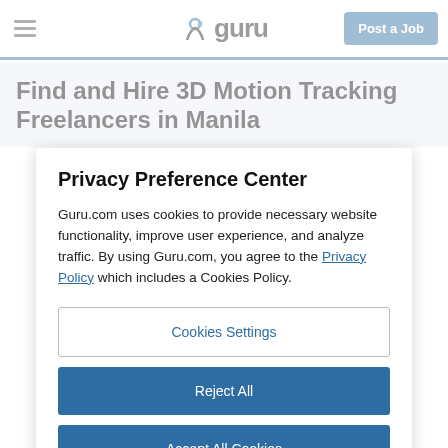guru — Post a Job
Find and Hire 3D Motion Tracking Freelancers in Manila
Privacy Preference Center
Guru.com uses cookies to provide necessary website functionality, improve user experience, and analyze traffic. By using Guru.com, you agree to the Privacy Policy which includes a Cookies Policy.
Cookies Settings
Reject All
Accept All Cookies